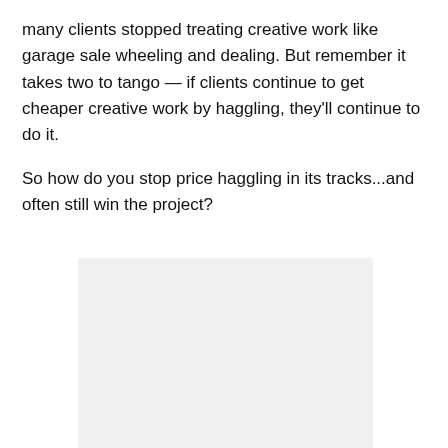many clients stopped treating creative work like garage sale wheeling and dealing. But remember it takes two to tango — if clients continue to get cheaper creative work by haggling, they'll continue to do it.
So how do you stop price haggling in its tracks...and often still win the project?
[Figure (other): A light gray rectangular placeholder box]